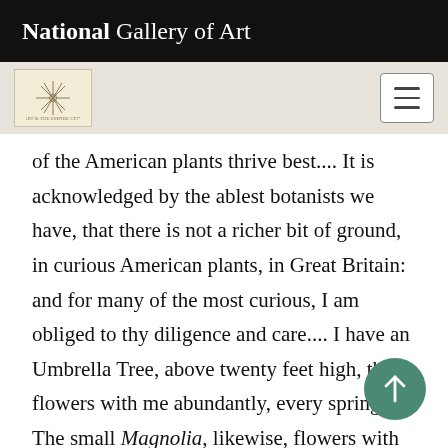National Gallery of Art
[Figure (logo): Art & the Empire City exhibition logo — small starburst/flower design in tan box]
of the American plants thrive best.... It is acknowledged by the ablest botanists we have, that there is not a richer bit of ground, in curious American plants, in Great Britain: and for many of the most curious, I am obliged to thy diligence and care.... I have an Umbrella Tree, above twenty feet high, that flowers with me abundantly, every spring. The small Magnolia, likewise, flowers with me finely. I have a little wilderness, which, when I bought the premises, was full of old Yew trees, Laurels, and weeds. I had it cleared, well dug, took up many trees, but left others standing for